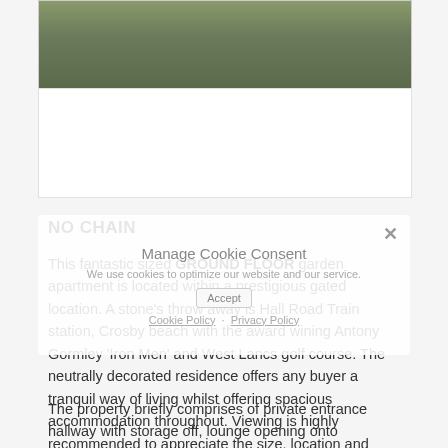[Figure (photo): Outdoor photo showing grass/garden area, partially cropped at top of page]
NO CHAIN
This fantastic sized GROUND FLOOR garden apartment is located within a prestigious gated location. A stone's throw away is Hall Road Train station, Crosby beach with the award wining Antony Gormley ‘Iron Men’ and West Lancs golf course. The neutrally decorated residence offers any buyer a tranquil way of living whilst offering spacious accommodation throughout. Viewing is highly recommended to appreciate the size, location and private aspect that is offered. This hidden gem of a property is ideal for any buyer, whether a professional candidate, a retired couple or someone needing disabled access – catch this whilst you can!
The property briefly comprises of private entrance hallway with storage off, lounge opening onto conservatory, good sized modern kitchen/breakfast room, two double bedrooms – master with en-suite shower room, further family bathroom and utility